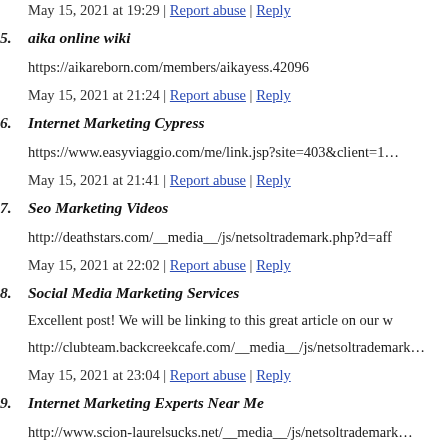May 15, 2021 at 19:29 | Report abuse | Reply
5. aika online wiki
https://aikareborn.com/members/aikayess.42096
May 15, 2021 at 21:24 | Report abuse | Reply
6. Internet Marketing Cypress
https://www.easyviaggio.com/me/link.jsp?site=403&client=18...
May 15, 2021 at 21:41 | Report abuse | Reply
7. Seo Marketing Videos
http://deathstars.com/__media__/js/netsoltrademark.php?d=aff...
May 15, 2021 at 22:02 | Report abuse | Reply
8. Social Media Marketing Services
Excellent post! We will be linking to this great article on our w...
http://clubteam.backcreekcafe.com/__media__/js/netsoltrademark...
May 15, 2021 at 23:04 | Report abuse | Reply
9. Internet Marketing Experts Near Me
http://www.scion-laurelsucks.net/__media__/js/netsoltrademark...